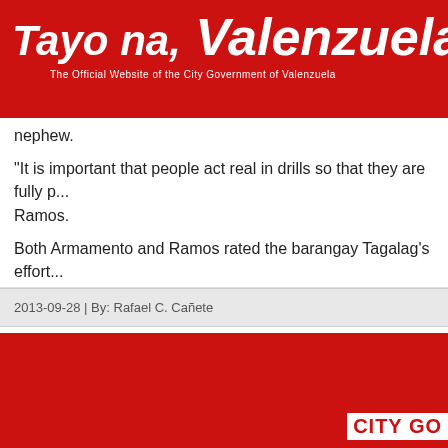Tayo na, Valenzuela! — The Official Website of the City Government of Valenzuela
nephew.
“It is important that people act real in drills so that they are fully p... Ramos.
Both Armamento and Ramos rated the barangay Tagalag’s effort...
2013-09-28 | By: Rafael C. Cañete
CITY GO